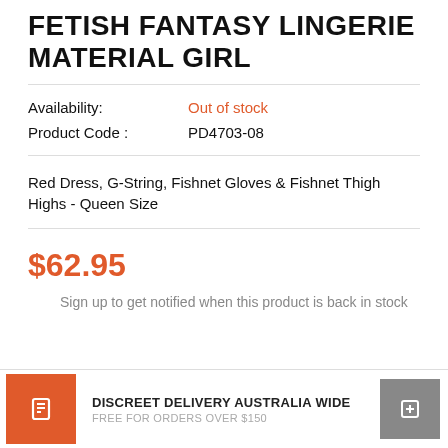FETISH FANTASY LINGERIE MATERIAL GIRL
Availability: Out of stock
Product Code : PD4703-08
Red Dress, G-String, Fishnet Gloves & Fishnet Thigh Highs - Queen Size
$62.95
Sign up to get notified when this product is back in stock
DISCREET DELIVERY AUSTRALIA WIDE
FREE FOR ORDERS OVER $150